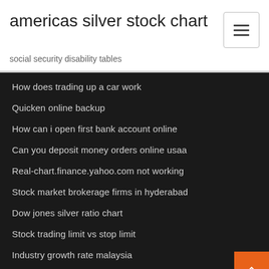americas silver stock chart
social security disability tables
How does trading up a car work
Quicken online backup
How can i open first bank account online
Can you deposit money orders online usaa
Real-chart.finance.yahoo.com not working
Stock market brokerage firms in hyderabad
Dow jones silver ratio chart
Stock trading limit vs stop limit
Industry growth rate malaysia
How extracting crude oil